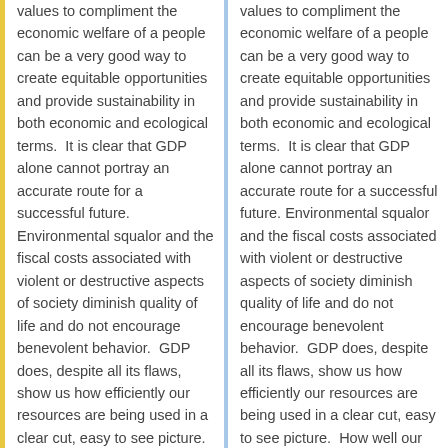values to compliment the economic welfare of a people can be a very good way to create equitable opportunities and provide sustainability in both economic and ecological terms.  It is clear that GDP alone cannot portray an accurate route for a successful future. Environmental squalor and the fiscal costs associated with violent or destructive aspects of society diminish quality of life and do not encourage benevolent behavior.  GDP does, despite all its flaws, show us how efficiently our resources are being used in a clear cut, easy to see picture.  How well our financial needs are
values to compliment the economic welfare of a people can be a very good way to create equitable opportunities and provide sustainability in both economic and ecological terms.  It is clear that GDP alone cannot portray an accurate route for a successful future. Environmental squalor and the fiscal costs associated with violent or destructive aspects of society diminish quality of life and do not encourage benevolent behavior.  GDP does, despite all its flaws, show us how efficiently our resources are being used in a clear cut, easy to see picture.  How well our financial needs are